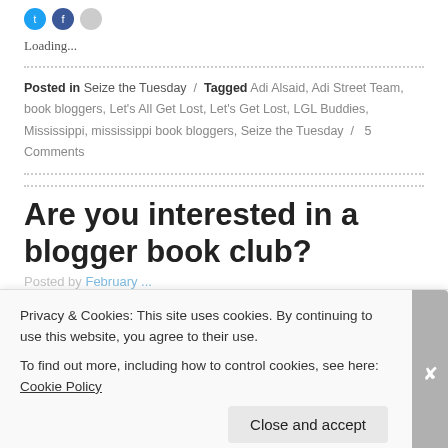[Figure (illustration): Social media sharing icons (two blue circular icons and one grey circular icon) at the top left]
Loading...
Posted in Seize the Tuesday / Tagged Adi Alsaid, Adi Street Team, book bloggers, Let's All Get Lost, Let's Get Lost, LGL Buddies, Mississippi, mississippi book bloggers, Seize the Tuesday / 5 Comments
Are you interested in a blogger book club?
Privacy & Cookies: This site uses cookies. By continuing to use this website, you agree to their use. To find out more, including how to control cookies, see here: Cookie Policy
Close and accept